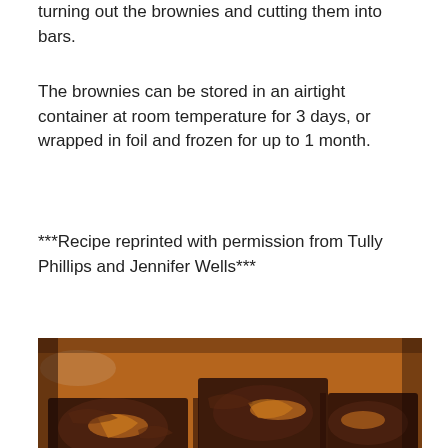turning out the brownies and cutting them into bars.
The brownies can be stored in an airtight container at room temperature for 3 days, or wrapped in foil and frozen for up to 1 month.
***Recipe reprinted with permission from Tully Phillips and Jennifer Wells***
[Figure (photo): Close-up photo of chocolate brownies with caramel topping, cut into bars and arranged on parchment paper.]